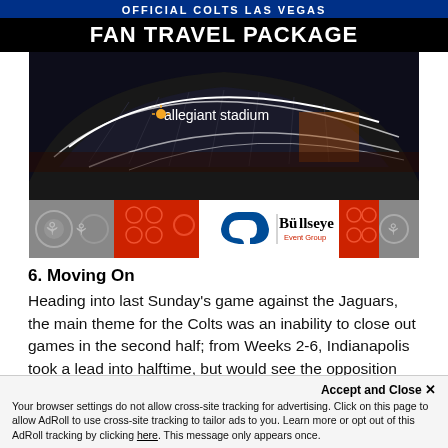[Figure (other): Official Colts Las Vegas Fan Travel Package advertisement banner with 'FAN TRAVEL PACKAGE' title, Allegiant Stadium night photo, and Colts/Bullseye sponsor logos]
6. Moving On
Heading into last Sunday's game against the Jaguars, the main theme for the Colts was an inability to close out games in the second half; from Weeks 2-6, Indianapolis took a lead into halftime, but would see the opposition either close the gap and run away with the
Accept and Close ×
Your browser settings do not allow cross-site tracking for advertising. Click on this page to allow AdRoll to use cross-site tracking to tailor ads to you. Learn more or opt out of this AdRoll tracking by clicking here. This message only appears once.